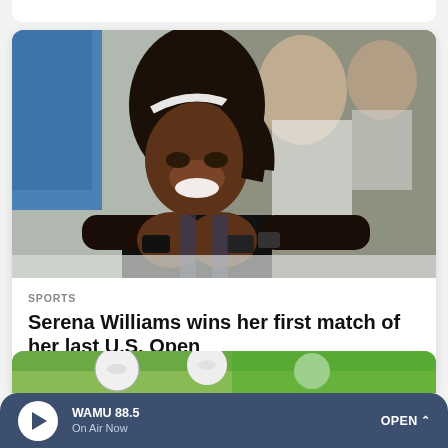[Figure (photo): Serena Williams making a heart shape with her hands, smiling, wearing a black outfit, with crowd in the background at the U.S. Open]
SPORTS
Serena Williams wins her first match of her last U.S. Open
[Figure (photo): Partial view of a soccer/sports scene with a ball visible against green background]
WAMU 88.5 On Air Now OPEN ^